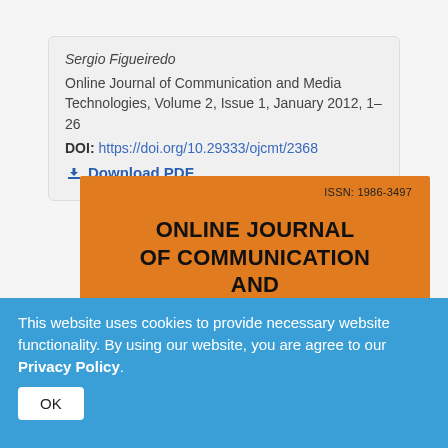Sergio Figueiredo
Online Journal of Communication and Media Technologies, Volume 2, Issue 1, January 2012, 1–26
DOI: https://doi.org/10.29333/ojcmt/2368
Download PDF
[Figure (illustration): Orange journal cover for Online Journal of Communication and Media Technologies with ISSN: 1986-3497]
This website uses cookies to provide necessary website functionality. By using our website, you are agree to our Privacy Policy.
OK